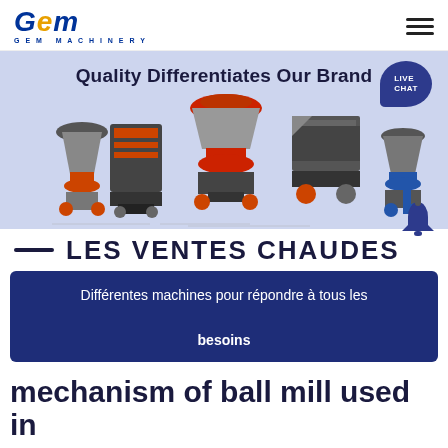GEM - G E M  M A C H I N E R Y
[Figure (screenshot): GEM Machinery website banner with blue-lavender background showing 5 industrial crushing machines and text 'Quality Differentiates Our Brand' with a Live Chat bubble]
LES VENTES CHAUDES
Différentes machines pour répondre à tous les besoins
mechanism of ball mill used in